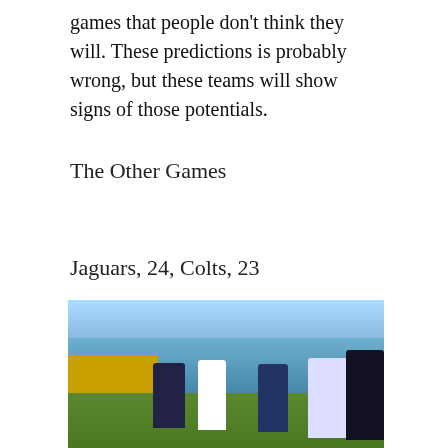games that people don't think they will. These predictions is probably wrong, but these teams will show signs of those potentials.
The Other Games
Jaguars, 24, Colts, 23
[Figure (photo): Football game action photo showing Jacksonville Jaguars quarterback throwing a pass while Indianapolis Colts defenders rush in, taken at a sunny NFL stadium.]